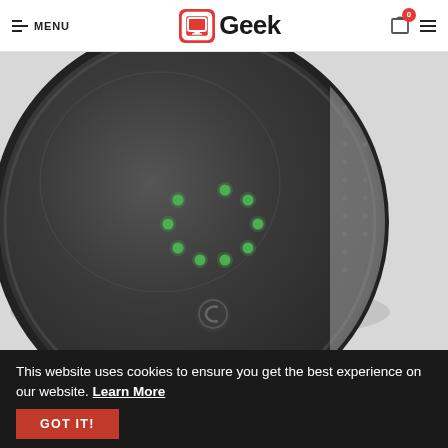MENU | Geek | 0 (cart)
[Figure (photo): Close-up top-down view of a dark circular smart home device (likely an August smart lock or similar) with green LED dots arranged in a circular pattern on its matte black surface. Right side shows perforated gray texture. Device rests on a light gray surface.]
This website uses cookies to ensure you get the best experience on our website. Learn More
GOT IT!